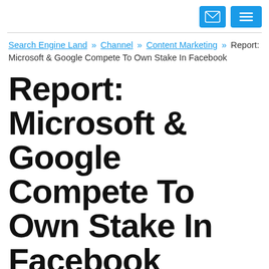[email icon] [menu icon]
Search Engine Land » Channel » Content Marketing » Report: Microsoft & Google Compete To Own Stake In Facebook
Report: Microsoft & Google Compete To Own Stake In Facebook
Online Faceoff from NY Post reports Google is in a heated battle with Microsoft to own a stake in Facebook. The two...